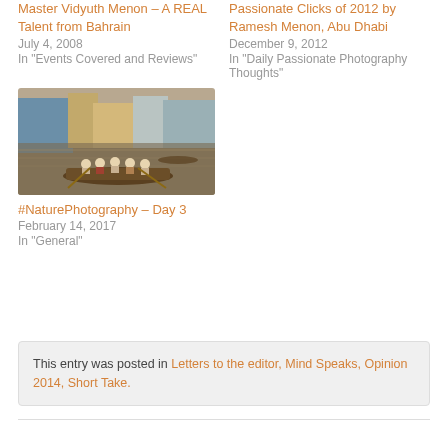Master Vidyuth Menon – A REAL Talent from Bahrain
July 4, 2008
In 'Events Covered and Reviews'
Passionate Clicks of 2012 by Ramesh Menon, Abu Dhabi
December 9, 2012
In 'Daily Passionate Photography Thoughts'
[Figure (photo): People rowing a wooden boat on a river or canal in an urban setting, with buildings in the background]
#NaturePhotography – Day 3
February 14, 2017
In 'General'
This entry was posted in Letters to the editor, Mind Speaks, Opinion 2014, Short Take.